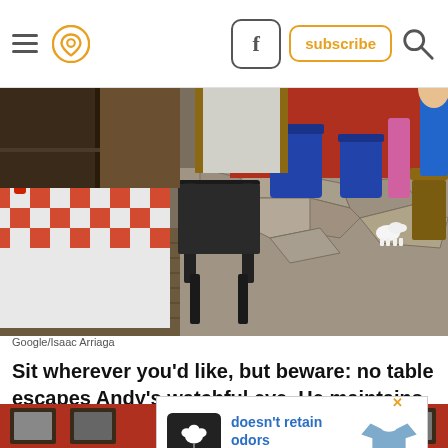Navigation header with hamburger menu, location icon, Facebook button, subscribe button, search icon
[Figure (photo): Interior of a restaurant showing a table with red checkered tablecloth, a dark chair, a stone-paved floor area, blue trash bins, a red wall, and a small white pig figurine in the background]
Google/Isaac Arriaga
Sit wherever you’d like, but beware: no table escapes Andy’s watchful eye. He maintains order in the restaurant, ensuring nobody walks away hungr
[Figure (other): Advertisement for Cotton: 'doesn’t retain odors after washing.' with Cotton logo and image of a blue t-shirt]